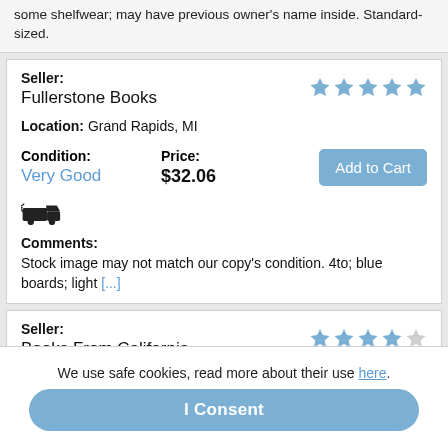some shelfwear; may have previous owner's name inside. Standard-sized.
Seller: Fullerstone Books
Location: Grand Rapids, MI
Condition: Very Good
Price: $32.06
Comments: Stock image may not match our copy's condition. 4to; blue boards; light [...]
Seller: Books From California
Location: Simi Valley, CA
We use safe cookies, read more about their use here.